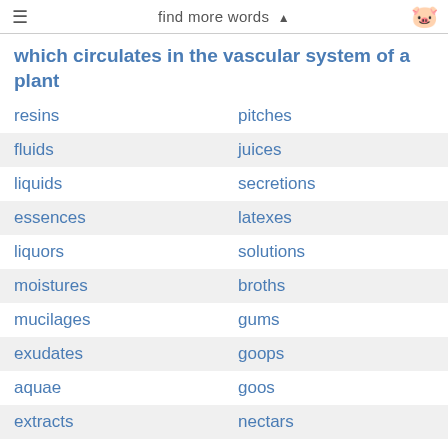find more words
which circulates in the vascular system of a plant
resins | pitches
fluids | juices
liquids | secretions
essences | latexes
liquors | solutions
moistures | broths
mucilages | gums
exudates | goops
aquae | goos
extracts | nectars
tailles | rubbers
biles | rosins
embers | sere